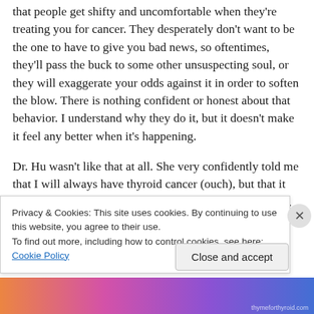that people get shifty and uncomfortable when they're treating you for cancer. They desperately don't want to be the one to have to give you bad news, so oftentimes, they'll pass the buck to some other unsuspecting soul, or they will exaggerate your odds against it in order to soften the blow. There is nothing confident or honest about that behavior. I understand why they do it, but it doesn't make it feel any better when it's happening.
Dr. Hu wasn't like that at all. She very confidently told me that I will always have thyroid cancer (ouch), but that it will not be what kills me (well thank goodness for that!). She
Privacy & Cookies: This site uses cookies. By continuing to use this website, you agree to their use.
To find out more, including how to control cookies, see here: Cookie Policy